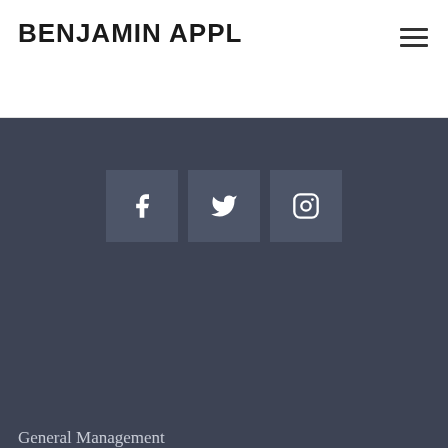BENJAMIN APPL
[Figure (other): Hamburger menu icon (three horizontal lines)]
[Figure (other): Three social media icon buttons: Facebook (f), Twitter (bird), Instagram (camera) on dark background]
General Management
GET IN TOUCH
Lewis Holland Artist Management
Somerset House Exchange / New Wing
Strand